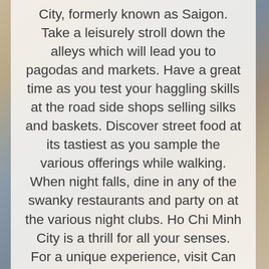City, formerly known as Saigon. Take a leisurely stroll down the alleys which will lead you to pagodas and markets. Have a great time as you test your haggling skills at the road side shops selling silks and baskets. Discover street food at its tastiest as you sample the various offerings while walking. When night falls, dine in any of the swanky restaurants and party on at the various night clubs. Ho Chi Minh City is a thrill for all your senses.
For a unique experience, visit Can Tho where you will find the floating